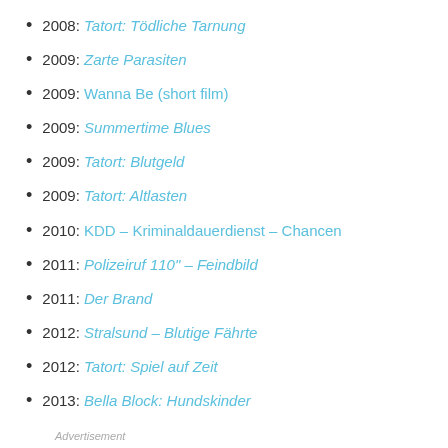2008: Tatort: Tödliche Tarnung
2009: Zarte Parasiten
2009: Wanna Be (short film)
2009: Summertime Blues
2009: Tatort: Blutgeld
2009: Tatort: Altlasten
2010: KDD – Kriminaldauerdienst – Chancen
2011: Polizeiruf 110" – Feindbild
2011: Der Brand
2012: Stralsund – Blutige Fährte
2012: Tatort: Spiel auf Zeit
2013: Bella Block: Hundskinder
Advertisement